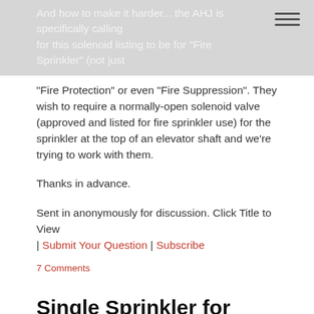And how to make it harder... the AHJ is specifically calling for this solenoid listing to be for "Fire Sprinkler" (not just "Fire Protection" or even "Fire Suppression"). They wish to require a normally-open solenoid valve (approved and listed for fire sprinkler use) for the sprinkler at the top of an elevator shaft and we're trying to work with them.
"Fire Protection" or even "Fire Suppression". They wish to require a normally-open solenoid valve (approved and listed for fire sprinkler use) for the sprinkler at the top of an elevator shaft and we're trying to work with them.
Thanks in advance.
Sent in anonymously for discussion. Click Title to View | Submit Your Question | Subscribe
7 Comments
Single Sprinkler for Accessible Vertical Shaft?